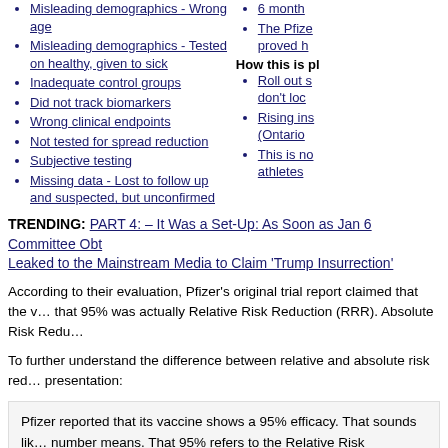Misleading demographics - Wrong age
Misleading demographics - Tested on healthy, given to sick
Inadequate control groups
Did not track biomarkers
Wrong clinical endpoints
Not tested for spread reduction
Subjective testing
Missing data - Lost to follow up and suspected, but unconfirmed
6 month…
The Pfize… proved h…
How this is pl…
Roll out s… don't lo…
Rising ins… (Ontario…
This is no… athletes…
TRENDING: PART 4: – It Was a Set-Up: As Soon as Jan 6 Committee Obt… Leaked to the Mainstream Media to Claim 'Trump Insurrection'
According to their evaluation, Pfizer's original trial report claimed that the v… that 95% was actually Relative Risk Reduction (RRR). Absolute Risk Redu…
To further understand the difference between relative and absolute risk red… presentation:
Pfizer reported that its vaccine shows a 95% efficacy. That sounds lik… number means. That 95% refers to the Relative Risk reduction, but it… we need Absolute Risk Reduction (ARR).

In the Pfizer trial, 8 out of 18,198 people who were given the vaccine…